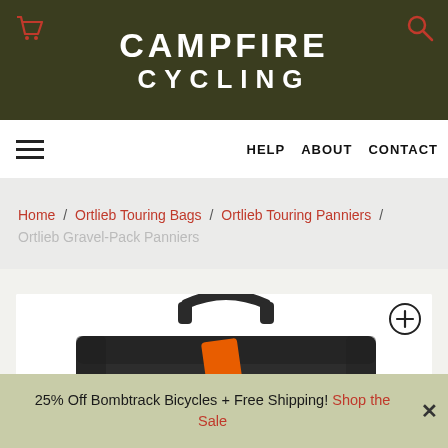CAMPFIRE CYCLING
HELP  ABOUT  CONTACT
Home / Ortlieb Touring Bags / Ortlieb Touring Panniers / Ortlieb Gravel-Pack Panniers
[Figure (photo): Close-up photo of an Ortlieb Gravel-Pack Pannier bag, dark grey/black with an orange strap, shown from above on a white background. A zoom/expand icon is visible in the top right corner of the image area.]
25% Off Bombtrack Bicycles + Free Shipping! Shop the Sale